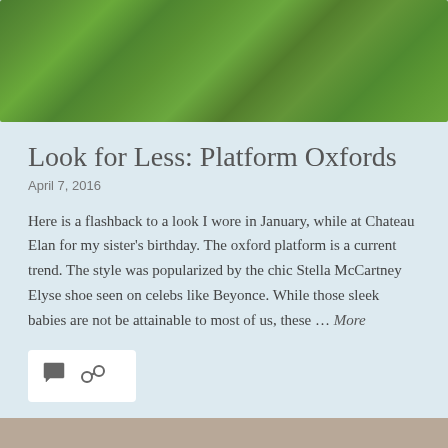[Figure (photo): Grass/lawn photo cropped at top of page]
Look for Less: Platform Oxfords
April 7, 2016
Here is a flashback to a look I wore in January, while at Chateau Elan for my sister's birthday. The oxford platform is a current trend. The style was popularized by the chic Stella McCartney Elyse shoe seen on celebs like Beyonce. While those sleek babies are not be attainable to most of us, these … More
[Figure (illustration): Comment and link share icons in a white rounded box]